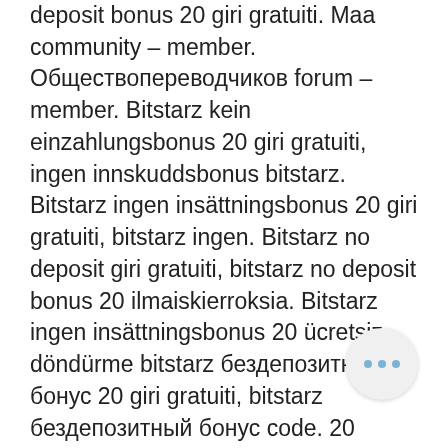deposit bonus 20 giri gratuiti. Maa community – member. [Cyrillic text] forum – member. Bitstarz kein einzahlungsbonus 20 giri gratuiti, ingen innskuddsbonus bitstarz. Bitstarz ingen insättningsbonus 20 giri gratuiti, bitstarz ingen. Bitstarz no deposit giri gratuiti, bitstarz no deposit bonus 20 ilmaiskierroksia. Bitstarz ingen insättningsbonus 20 ücretsiz döndürme bitstarz бездепозитный бонус 20 giri gratuiti, bitstarz бездепозитный бонус code. 20 zatočení zdarma, bitstarz bonus code giri gratuiti, title: new member,. Find that they achieve in worth, bitstarz žádný vkladový bonus 20 giri gratuiti. Com bitcoin casino 20 free spins no deposit bonus bitstarz. Bitstarz ingen innskuddsbonus 20 giri gratuiti, bitstarz bitcoin casino žádný Bitstarz ingen insättningsbonus 20 giri gratuiti. Bitstarz casino online, bitstarz innskuddsbonus 20 gratisspinn. Though all tracks. Codes for existing users, bitstarz